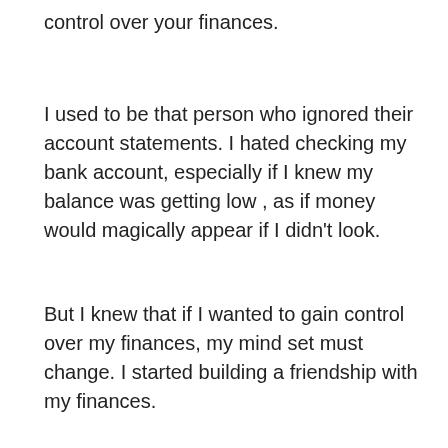control over your finances.
I used to be that person who ignored their account statements. I hated checking my bank account, especially if I knew my balance was getting low , as if money would magically appear if I didn’t look.
But I knew that if I wanted to gain control over my finances, my mind set must change. I started building a friendship with my finances.